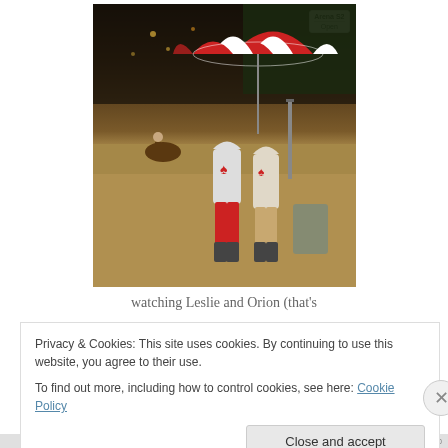[Figure (photo): Two people wearing white Canadian maple leaf hoodies and rain gear standing in a sandy equestrian arena at night, holding a red and white umbrella. A sign reads 'Arena S2 / Open' in the upper right. A horse and rider are visible in the background.]
watching Leslie and Orion (that's
Privacy & Cookies: This site uses cookies. By continuing to use this website, you agree to their use.
To find out more, including how to control cookies, see here: Cookie Policy
Close and accept